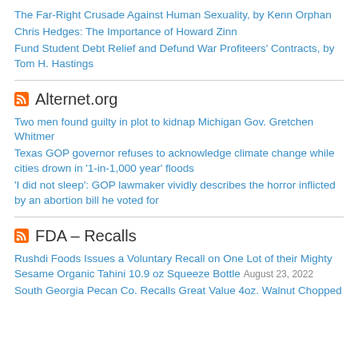The Far-Right Crusade Against Human Sexuality, by Kenn Orphan
Chris Hedges: The Importance of Howard Zinn
Fund Student Debt Relief and Defund War Profiteers' Contracts, by Tom H. Hastings
Alternet.org
Two men found guilty in plot to kidnap Michigan Gov. Gretchen Whitmer
Texas GOP governor refuses to acknowledge climate change while cities drown in '1-in-1,000 year' floods
'I did not sleep': GOP lawmaker vividly describes the horror inflicted by an abortion bill he voted for
FDA – Recalls
Rushdi Foods Issues a Voluntary Recall on One Lot of their Mighty Sesame Organic Tahini 10.9 oz Squeeze Bottle August 23, 2022
South Georgia Pecan Co. Recalls Great Value 4oz. Walnut Chopped